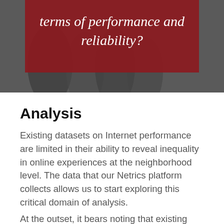[Figure (photo): A dark background photo (appears to show metallic cylindrical objects) with a dark red/maroon overlay rectangle containing white serif text reading 'terms of performance and reliability?']
terms of performance and reliability?
Analysis
Existing datasets on Internet performance are limited in their ability to reveal inequality in online experiences at the neighborhood level. The data that our Netrics platform collects allows us to start exploring this critical domain of analysis.
At the outset, it bears noting that existing datasets on